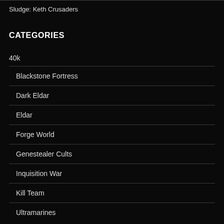Sludge: Keth Crusaders
CATEGORIES
40k
Blackstone Fortress
Dark Eldar
Eldar
Forge World
Genestealer Cults
Inquisition War
Kill Team
Ultramarines